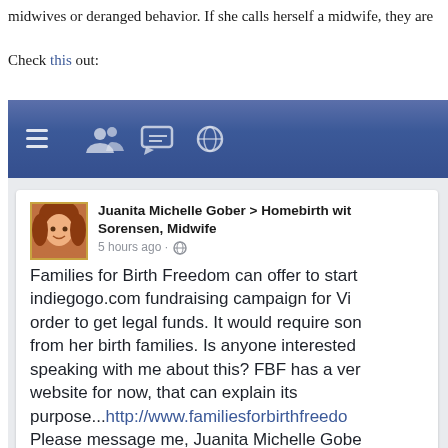midwives or deranged behavior. If she calls herself a midwife, they are
Check this out:
[Figure (screenshot): Screenshot of a Facebook post by Juanita Michelle Gober posted to 'Homebirth with Sorensen, Midwife' page, 5 hours ago. Post text: 'Families for Birth Freedom can offer to start an indiegogo.com fundraising campaign for Vi... order to get legal funds. It would require so... from her birth families. Is anyone interested... speaking with me about this? FBF has a very website for now, that can explain its purpose...http://www.familiesforbirthfreedo... Please message me, Juanita Michelle Gobe...']